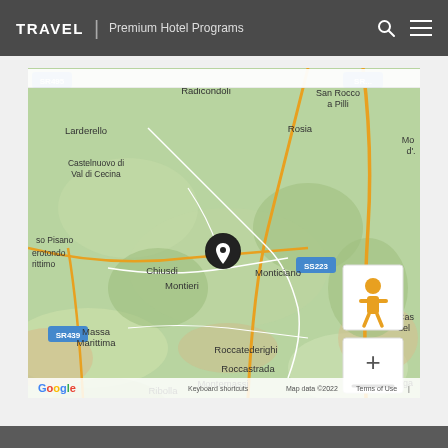TRAVEL | Premium Hotel Programs
[Figure (map): Google Maps screenshot showing Tuscany region in Italy, centered on a location pin near Chiusdino/Monticiano. Visible place names include Radicondoli, Larderello, Castelnuovo di Val di Cecina, San Rocco a Pilli, Rosia, Montieri, Massa Marittima, Roccatederighi, Roccastrada, Montemassi, Ribolla. Road labels SR439, SR495, SS223 visible. Map data ©2022. Google logo in bottom left.]